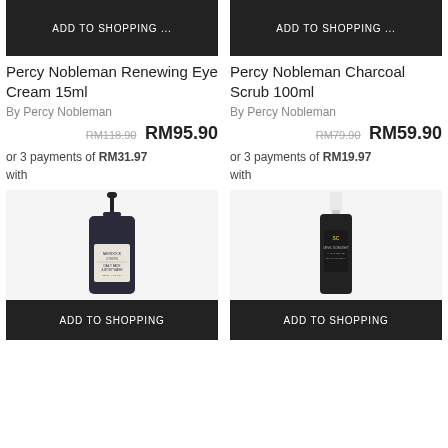ADD TO SHOPPING ...
ADD TO SHOPPING ...
Percy Nobleman Renewing Eye Cream 15ml
Percy Nobleman Charcoal Scrub 100ml
By Percy Nobleman
By Percy Nobleman
RM118.90  RM95.90
RM79.90  RM59.90
or 3 payments of RM31.97 with
or 3 payments of RM19.97 with
[Figure (photo): Murdock Daily Face & Body Wash bottle, dark navy blue pump bottle]
ADD TO SHOPPING
[Figure (photo): Devil's Delight Hair & Beard Sea Salt Spray bottle, dark bottle with white cap/dropper]
ADD TO SHOPPING